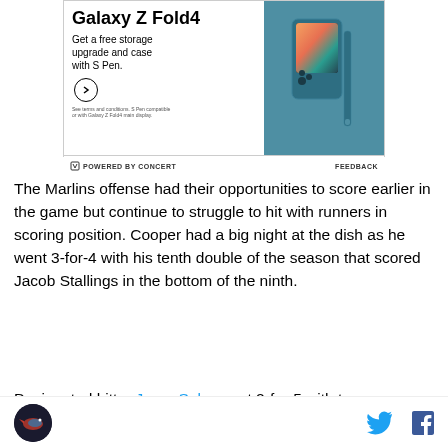[Figure (advertisement): Samsung Galaxy Z Fold4 advertisement. White left panel with bold title 'Galaxy Z Fold4', subtitle 'Get a free storage upgrade and case with S Pen.', a circle arrow button, and fine print. Right panel shows a teal/blue Samsung Galaxy Z Fold4 phone with S Pen on a teal background.]
POWERED BY CONCERT   FEEDBACK
The Marlins offense had their opportunities to score earlier in the game but continue to struggle to hit with runners in scoring position. Cooper had a big night at the dish as he went 3-for-4 with his tenth double of the season that scored Jacob Stallings in the bottom of the ninth.
Designated hitter Jorge Soler went 2-for-5 with two
Marlins logo | Twitter icon | Facebook icon